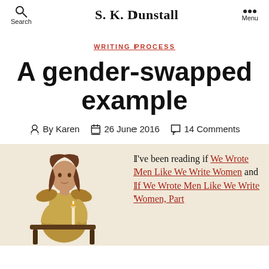Search | S. K. Dunstall | Menu
WRITING PROCESS
A gender-swapped example
By Karen  26 June 2016  14 Comments
[Figure (illustration): Fantasy character illustration: a figure in golden armor seated, holding a candle]
I've been reading if We Wrote Men Like We Write Women and If We Wrote Men Like We Write Women, Part